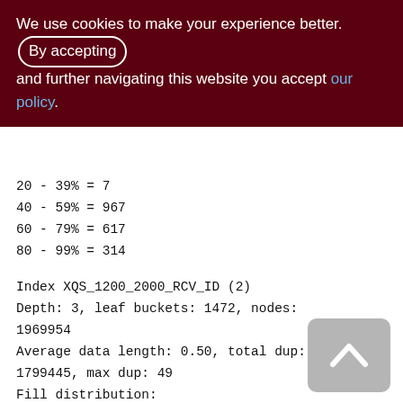We use cookies to make your experience better. By accepting and further navigating this website you accept our policy.
20 - 39% = 7
40 - 59% = 967
60 - 79% = 617
80 - 99% = 314
Index XQS_1200_2000_RCV_ID (2)
Depth: 3, leaf buckets: 1472, nodes: 1969954
Average data length: 0.50, total dup: 1799445, max dup: 49
Fill distribution:
0 - 19% = 2
20 - 39% = 0